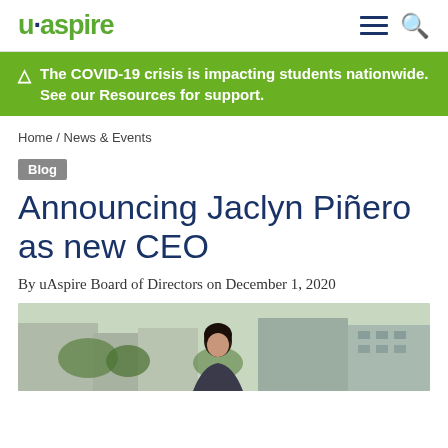u·aspire [logo] [hamburger menu] [search icon]
⚠ The COVID-19 crisis is impacting students nationwide. See our Resources for support.
Home / News & Events
Blog
Announcing Jaclyn Piñero as new CEO
By uAspire Board of Directors on December 1, 2020
[Figure (photo): Outdoor photo of Jaclyn Piñero, a woman with dark hair, photographed outdoors in an urban setting with buildings in the background.]